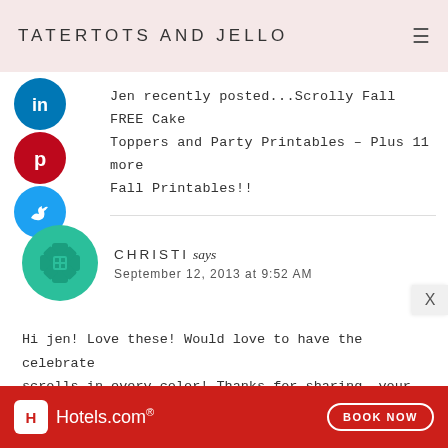TATERTOTS AND JELLO
Jen recently posted...Scrolly Fall FREE Cake Toppers and Party Printables – Plus 11 more Fall Printables!!
CHRISTI says September 12, 2013 at 9:52 AM
Hi jen! Love these! Would love to have the celebrate scrolls in every color! Thanks for sharing, your blog is my fave.
[Figure (infographic): Hotels.com advertisement banner with red background, Hotels.com logo, and BOOK NOW button]